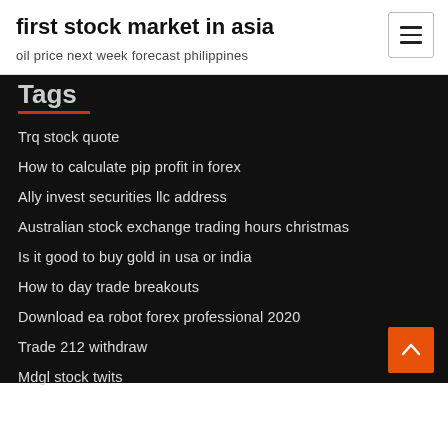first stock market in asia
oil price next week forecast philippines
Tags
Trq stock quote
How to calculate pip profit in forex
Ally invest securities llc address
Australian stock exchange trading hours christmas
Is it good to buy gold in usa or india
How to day trade breakouts
Download ea robot forex professional 2020
Trade 212 withdraw
Mdgl stock twits